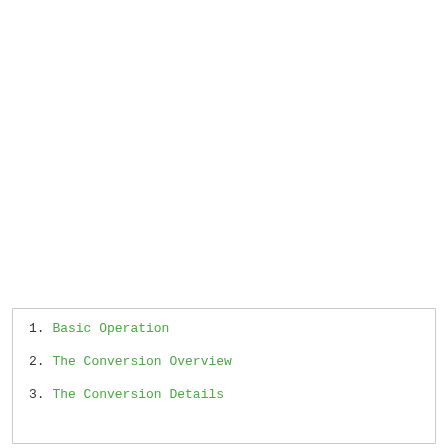1.  Basic Operation
2.  The Conversion Overview
3.  The Conversion Details